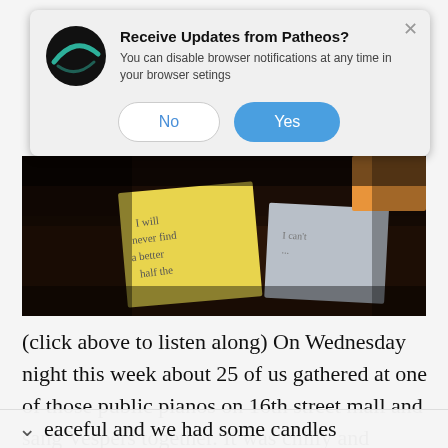[Figure (screenshot): Browser notification popup from Patheos with logo, title 'Receive Updates from Patheos?', body text, and No/Yes buttons]
[Figure (photo): Photo of sticky notes on a dark surface - yellow and grey post-it notes with handwriting]
(click above to listen along) On Wednesday night this week about 25 of us gathered at one of those public pianos on 16th street mall and sang Vespers together. It was chilly and peaceful and we had some candles